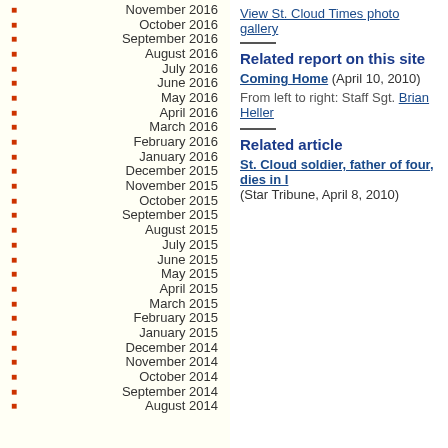November 2016
October 2016
September 2016
August 2016
July 2016
June 2016
May 2016
April 2016
March 2016
February 2016
January 2016
December 2015
November 2015
October 2015
September 2015
August 2015
July 2015
June 2015
May 2015
April 2015
March 2015
February 2015
January 2015
December 2014
November 2014
October 2014
September 2014
August 2014
View St. Cloud Times photo gallery
Related report on this site
Coming Home (April 10, 2010)
From left to right: Staff Sgt. Brian Heller
Related article
St. Cloud soldier, father of four, dies in I (Star Tribune, April 8, 2010)